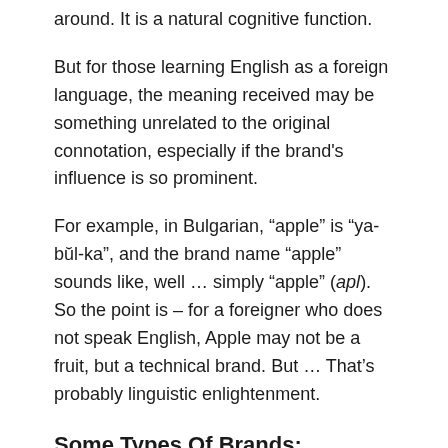around. It is a natural cognitive function.
But for those learning English as a foreign language, the meaning received may be something unrelated to the original connotation, especially if the brand's influence is so prominent.
For example, in Bulgarian, “apple” is “ya-būl-ka”, and the brand name “apple” sounds like, well … simply “apple” (apl). So the point is – for a foreigner who does not speak English, Apple may not be a fruit, but a technical brand. But … That’s probably linguistic enlightenment.
Some Types Of Brands:
Eponym / surname (eg Disney, Adidas, Tesla)
Descriptive (eg American Airlines, The Home Depot)